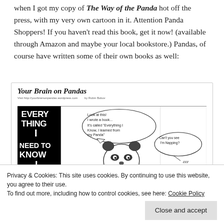when I got my copy of The Way of the Panda hot off the press, with my very own cartoon in it.  Attention Panda Shoppers!  If you haven't read this book, get it now! (available through Amazon and maybe your local bookstore.) Pandas, of course have written some of their own books as well:
[Figure (illustration): A comic strip titled 'Your Brain on Pandas' showing a panda holding a book saying 'Look at this! I wrote a book... it's called Everything I Know, I learned from my Panda' while another character says 'Can't you see I'm napping?'. The left panel shows a book cover with text 'Everything I need to know I learned...' The bottom shows a cat colored panda-colored, crossed out and wrote 'Panda' instead.]
Privacy & Cookies: This site uses cookies. By continuing to use this website, you agree to their use.
To find out more, including how to control cookies, see here: Cookie Policy